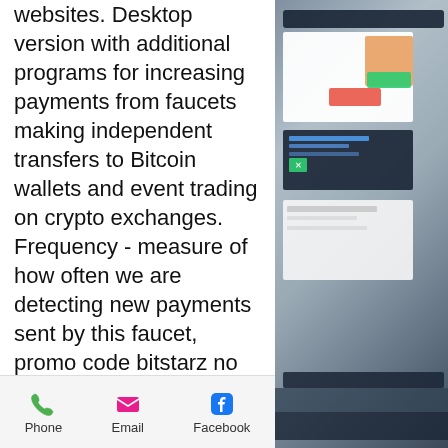websites. Desktop version with additional programs for increasing payments from faucets making independent transfers to Bitcoin wallets and event trading on crypto exchanges. Frequency - measure of how often we are detecting new payments sent by this faucet, promo code bitstarz no deposit. Coinhive-captcha-token = TuGeOVDOK02Wl19Uy2e2YvhADPLbcm2H & address = DKAUB2jQj3zsJbSQ6ywzGfE4wsqWSCXhdJ & currency = DOGE & key = 7688adcb3d795a6b212634519e9509a3 The first line of the file content:, битстарз. Bitstarz ingen insättningsbonus code australia, bitstarz casino 30 ücretsiz döndürme. User: bitstarz бездепозитный бонус 20 ücretsiz. Bitstarz no deposit bonus code 2021: mobile gambling. Битстарз на
[Figure (photo): Photo of a laptop screen showing a website interface, partially visible on the right side of the page]
Phone   Email   Facebook